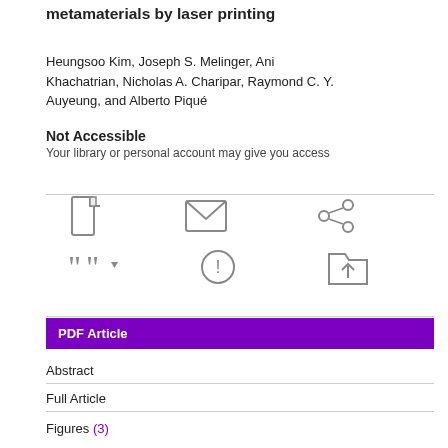metamaterials by laser printing
Heungsoo Kim, Joseph S. Melinger, Ani Khachatrian, Nicholas A. Charipar, Raymond C. Y. Auyeung, and Alberto Piqué
Not Accessible
Your library or personal account may give you access
[Figure (infographic): Row of action icons: PDF download, email, share (network), cite (quotation marks with dropdown), report/info (circled exclamation), upload to folder]
PDF Article
Abstract
Full Article
Figures (3)